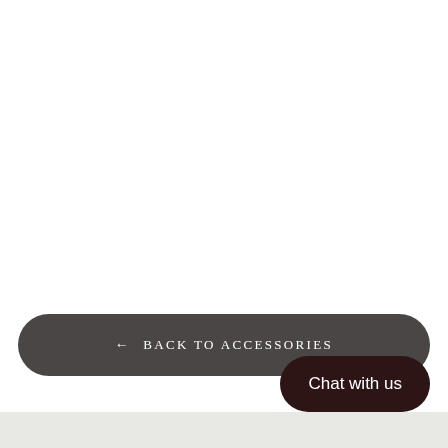← BACK TO ACCESSORIES
Chat with us